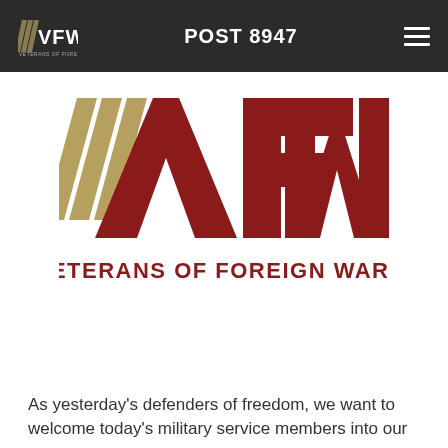VFW VETERANS OF FOREIGN WARS. POST 8947
[Figure (logo): VFW Veterans of Foreign Wars large logo with gold and dark red chevron marks and bold VFW letters in dark red, with 'VETERANS OF FOREIGN WARS.' text below]
As yesterday's defenders of freedom, we want to welcome today's military service members into our